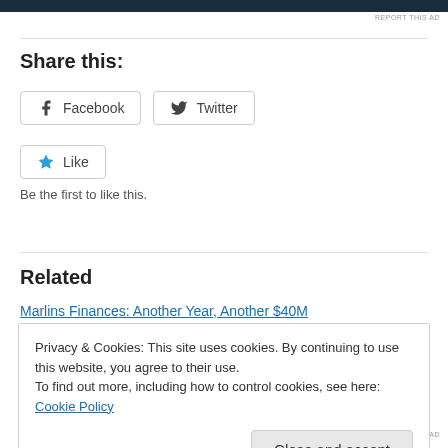[Figure (other): Dark navy advertisement bar at top of page]
REPORT THIS AD
Share this:
Facebook
Twitter
Like
Be the first to like this.
Related
Marlins Finances: Another Year, Another $40M
Privacy & Cookies: This site uses cookies. By continuing to use this website, you agree to their use.
To find out more, including how to control cookies, see here: Cookie Policy
Close and accept
REPORT THIS AD